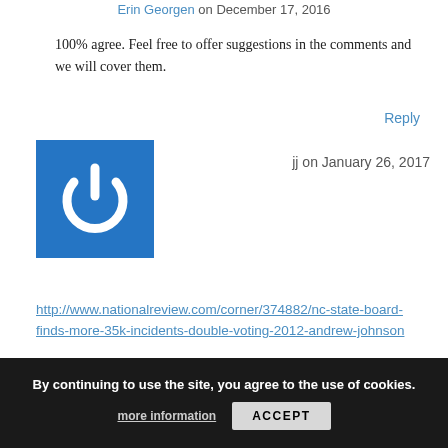Erin Georgen on December 17, 2016
100% agree. Feel free to offer suggestions in the comments and we will cover them.
Reply
[Figure (illustration): Blue square avatar with white power button icon]
jj on January 26, 2017
http://www.nationalreview.com/corner/374882/nc-state-board-finds-more-35k-incidents-double-voting-2012-andrew-johnson
Reply